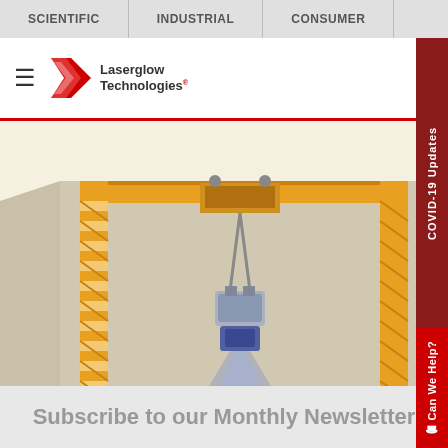SCIENTIFIC | INDUSTRIAL | CONSUMER | CART
[Figure (logo): Laserglow Technologies logo with red geometric icon and phone number 1-866-924-1673]
[Figure (illustration): Industrial crane illustration showing leading and trailing lines blue laser projection]
Leading and Trailing Lines Blue
1 Cranes $750
Add To Cart
Spec Sheet
[Figure (illustration): Industrial crane illustration showing hazard box lines blue laser projection]
Hazard Box Lines Blue
1 Cranes $1500
Add To Cart
Spec Sheet
Subscribe to our Monthly Newsletter